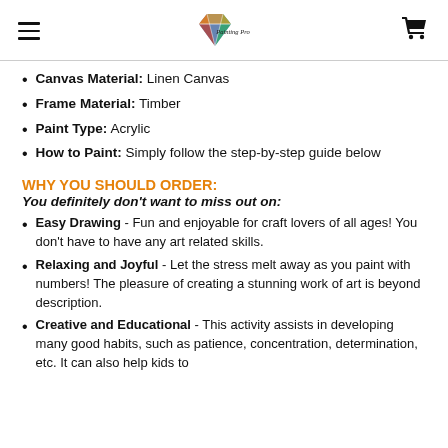[hamburger menu] [diamond painting pro logo] [cart icon]
Canvas Material: Linen Canvas
Frame Material: Timber
Paint Type: Acrylic
How to Paint: Simply follow the step-by-step guide below
WHY YOU SHOULD ORDER:
You definitely don't want to miss out on:
Easy Drawing - Fun and enjoyable for craft lovers of all ages! You don't have to have any art related skills.
Relaxing and Joyful - Let the stress melt away as you paint with numbers! The pleasure of creating a stunning work of art is beyond description.
Creative and Educational - This activity assists in developing many good habits, such as patience, concentration, determination, etc. It can also help kids to